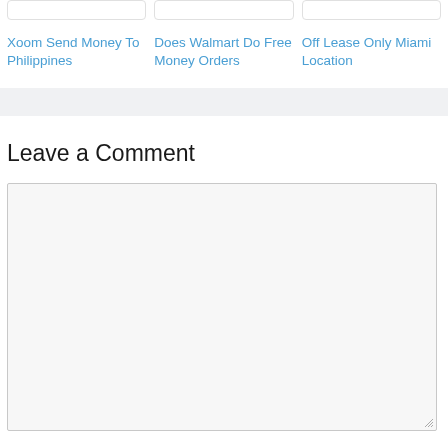Xoom Send Money To Philippines
Does Walmart Do Free Money Orders
Off Lease Only Miami Location
Leave a Comment